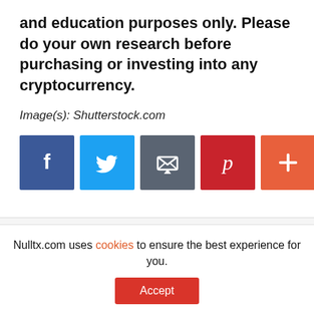and education purposes only. Please do your own research before purchasing or investing into any cryptocurrency.
Image(s): Shutterstock.com
[Figure (infographic): Row of social media share buttons: Facebook (blue, f icon), Twitter (blue, bird icon), Email (grey, envelope icon), Pinterest (red, P icon), Google+ (orange, + icon)]
JP Buntinx
Nulltx.com uses cookies to ensure the best experience for you.
Accept